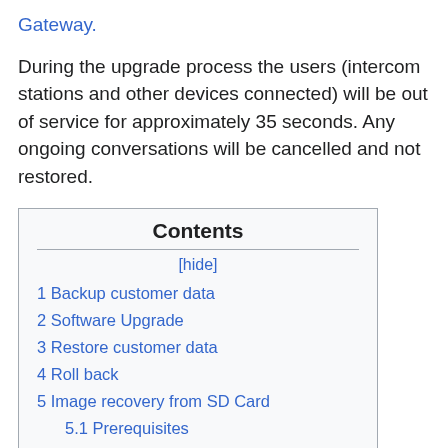Gateway.
During the upgrade process the users (intercom stations and other devices connected) will be out of service for approximately 35 seconds. Any ongoing conversations will be cancelled and not restored.
Contents
[hide]
1 Backup customer data
2 Software Upgrade
3 Restore customer data
4 Roll back
5 Image recovery from SD Card
5.1 Prerequisites
5.2 Prepare the SD Card